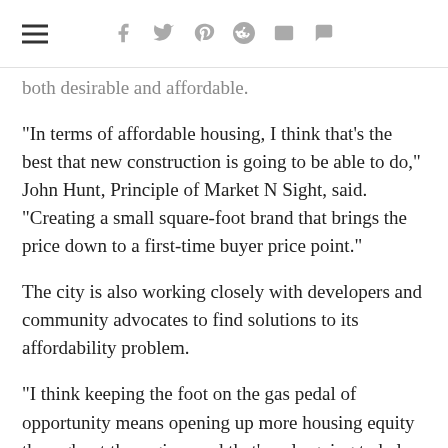[navigation bar with hamburger menu and social icons: f, twitter, pinterest, reddit, mail, comment]
both desirable and affordable.
“In terms of affordable housing, I think that’s the best that new construction is going to be able to do,” John Hunt, Principle of Market N Sight, said. “Creating a small square-foot brand that brings the price down to a first-time buyer price point.”
The city is also working closely with developers and community advocates to find solutions to its affordability problem.
“I think keeping the foot on the gas pedal of opportunity means opening up more housing equity throughout the region, and that’s only going to help our regional competitiveness in attracting